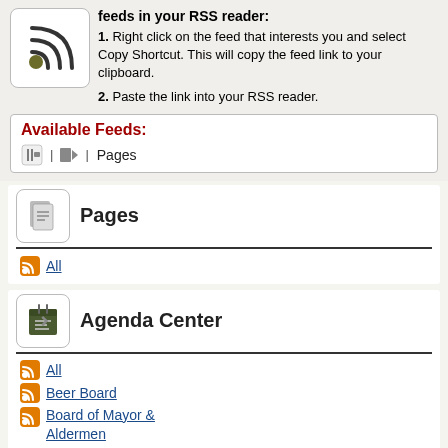[Figure (illustration): RSS feed icon with olive dot and signal waves]
Right click on the feed that interests you and select Copy Shortcut. This will copy the feed link to your clipboard.
Paste the link into your RSS reader.
Available Feeds:
Pages (feed icon + label)
Pages
All
Agenda Center
All
Beer Board
Board of Mayor & Aldermen
Board of Zoning Appeals
Design Review